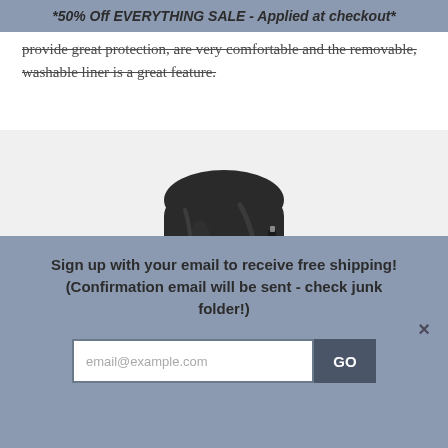*50% Off EVERYTHING SALE - Applied at checkout*
provide great protection, are very comfortable and the removable, washable liner is a great feature.
[Figure (photo): Close-up photo of a dark/black equestrian riding boot, showing the upper shaft and ankle area against a white background.]
Sign up with your email to receive free shipping! (Confirmation email will be sent - check junk folder!)